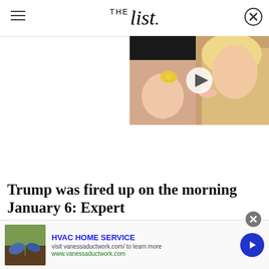THE list
[Figure (photo): Video thumbnail showing a blonde woman holding a baby with a yellow flower headband; play button overlay visible]
Trump was fired up on the morning January 6: Expert
[Figure (photo): Advertisement banner: HVAC HOME SERVICE — visit vanessaductwork.com/ to learn more — www.vanessaductwork.com — image of hands gardening/pulling dandelions from soil]